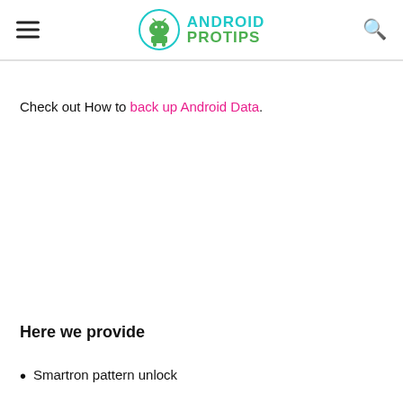ANDROID PROTIPS
Check out How to back up Android Data.
Here we provide
Smartron pattern unlock